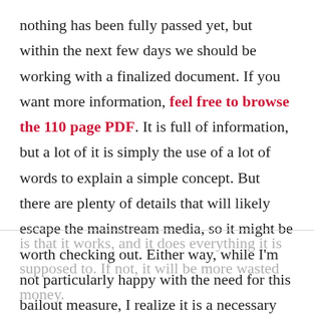nothing has been fully passed yet, but within the next few days we should be working with a finalized document. If you want more information, feel free to browse the 110 page PDF. It is full of information, but a lot of it is simply the use of a lot of words to explain a simple concept. But there are plenty of details that will likely escape the mainstream media, so it might be worth checking out. Either way, while I'm not particularly happy with the need for this bailout measure, I realize it is a necessary evil at this time. We never should have gotten ourselves into this mess to begin with, but we did, and now we have to deal with it. All I can hope
is that it works, and it does everything it is supposed to. If not, it will be more wasted money.